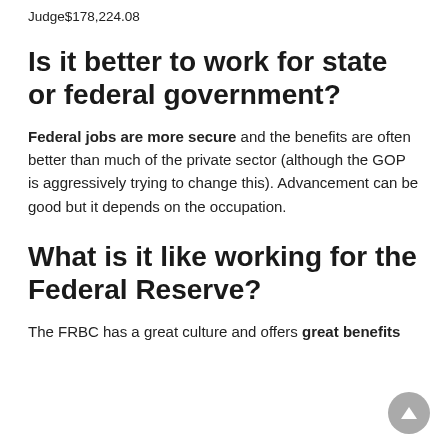Judge$178,224.08
Is it better to work for state or federal government?
Federal jobs are more secure and the benefits are often better than much of the private sector (although the GOP is aggressively trying to change this). Advancement can be good but it depends on the occupation.
What is it like working for the Federal Reserve?
The FRBC has a great culture and offers great benefits